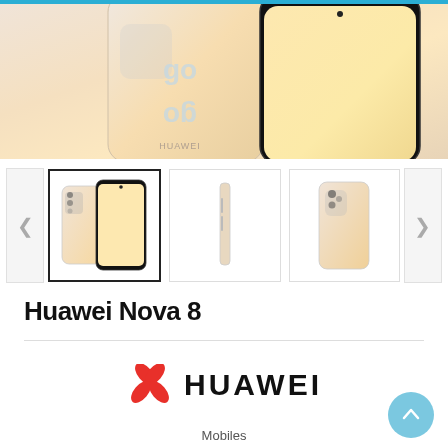[Figure (photo): Huawei Nova 8 smartphone product image showing front and back view with golden/peach gradient color on main display]
[Figure (photo): Thumbnail gallery showing three views of Huawei Nova 8: front+back view (selected), side profile, and back view]
Huawei Nova 8
[Figure (logo): Huawei logo with red flower/petal icon and HUAWEI wordmark in black]
Mobiles